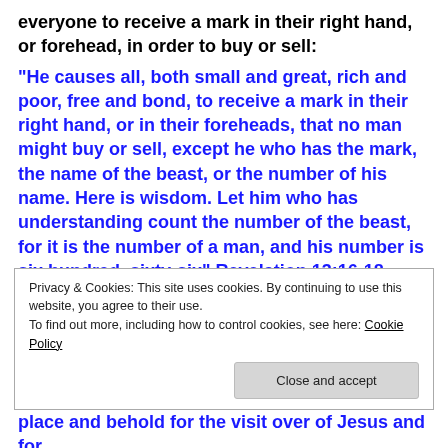everyone to receive a mark in their right hand, or forehead, in order to buy or sell:
“He causes all, both small and great, rich and poor, free and bond, to receive a mark in their right hand, or in their foreheads, that no man might buy or sell, except he who has the mark, the name of the beast, or the number of his name. Here is wisdom. Let him who has understanding count the number of the beast, for it is the number of a man, and his number is six hundred, sixty-six” Revelation 13:16-18.
Privacy & Cookies: This site uses cookies. By continuing to use this website, you agree to their use.
To find out more, including how to control cookies, see here: Cookie Policy
Close and accept
place and behold for the visit over of Jesus and for